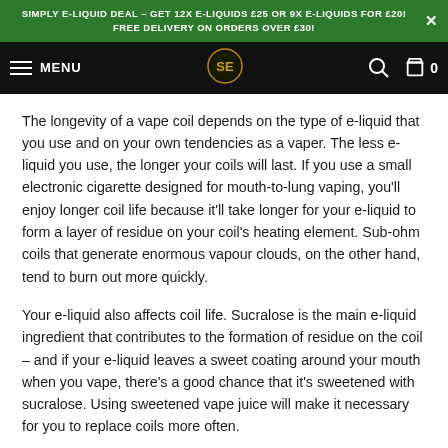SIMPLY E-LIQUID DEAL – GET 12X E-LIQUIDS £25 OR 9X E-LIQUIDS FOR £20! FREE DELIVERY ON ORDERS OVER £30!
MENU
The longevity of a vape coil depends on the type of e-liquid that you use and on your own tendencies as a vaper. The less e-liquid you use, the longer your coils will last. If you use a small electronic cigarette designed for mouth-to-lung vaping, you'll enjoy longer coil life because it'll take longer for your e-liquid to form a layer of residue on your coil's heating element. Sub-ohm coils that generate enormous vapour clouds, on the other hand, tend to burn out more quickly.
Your e-liquid also affects coil life. Sucralose is the main e-liquid ingredient that contributes to the formation of residue on the coil – and if your e-liquid leaves a sweet coating around your mouth when you vape, there's a good chance that it's sweetened with sucralose. Using sweetened vape juice will make it necessary for you to replace coils more often.